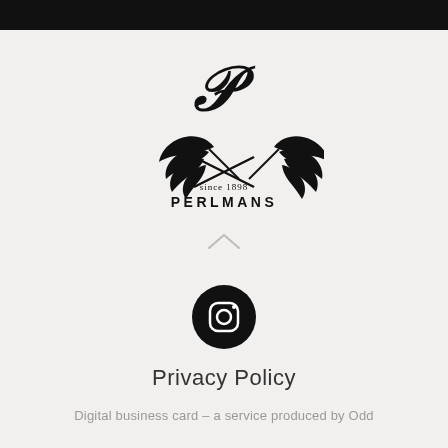[Figure (logo): Perlmans logo with ornate script P, two crossed holly/leaf sprigs, text 'since 1898' and 'PERLMANS' below]
[Figure (other): Small upward-pointing chevron/caret arrow in light gray]
[Figure (other): Black circular Instagram icon button]
Privacy Policy
Digital business card – a service produced by Odd